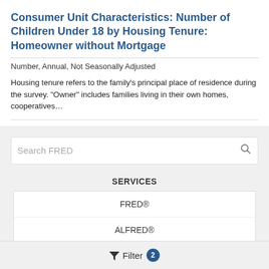Consumer Unit Characteristics: Number of Children Under 18 by Housing Tenure: Homeowner without Mortgage
Number, Annual, Not Seasonally Adjusted
Housing tenure refers to the family’s principal place of residence during the survey. "Owner" includes families living in their own homes, cooperatives…
[Figure (screenshot): Search FRED input box with magnifying glass icon]
SERVICES
FRED®
ALFRED®
FRASER®
IDEAS
Filter 2